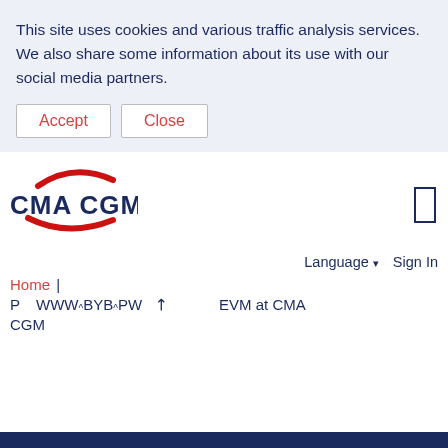This site uses cookies and various traffic analysis services. We also share some information about its use with our social media partners.
Accept  Close
[Figure (logo): CMA CGM logo with red swoosh arcs above and below the text]
Language ▾  Sign In
Home |
P  WWW.BYB.PW ↗  EVM at CMA CGM